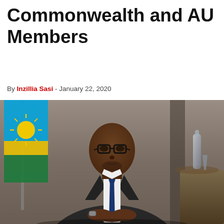Commonwealth and AU Members
By Inzillia Sasi - January 22, 2020
[Figure (photo): A man in a dark suit with a navy tie seated in front of a Rwandan flag, with decorative items on a table to the right. Background is a muted brown/grey wall.]